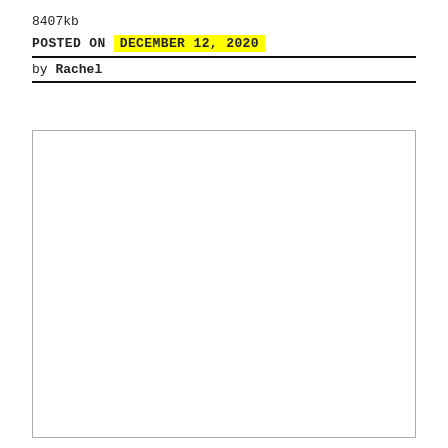8407kb
POSTED ON  DECEMBER 12, 2020
by Rachel
[Figure (other): Large blank white rectangle with a light gray border, appearing to be a placeholder for an image or embedded content.]